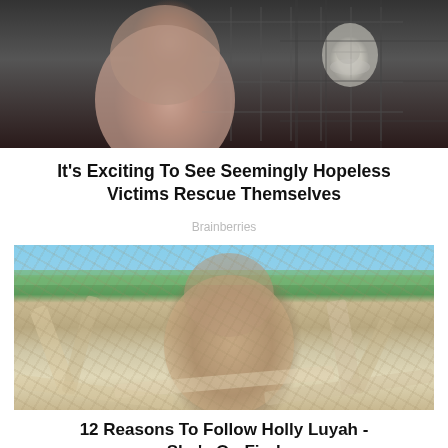[Figure (photo): A woman with dark hair looking forward, with a masked figure visible through a window behind her — horror movie style image]
It's Exciting To See Seemingly Hopeless Victims Rescue Themselves
Brainberries
[Figure (photo): A dark-haired woman in a white swimsuit posing among large driftwood logs on a beach, with trees and sky visible in the background]
12 Reasons To Follow Holly Luyah - She's On Fire!